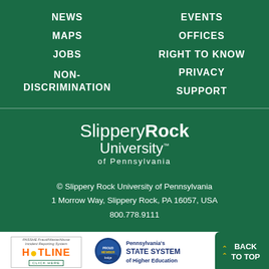NEWS
EVENTS
MAPS
OFFICES
JOBS
RIGHT TO KNOW
NON-DISCRIMINATION
PRIVACY
SUPPORT
[Figure (logo): Slippery Rock University of Pennsylvania logo in white text on green background]
© Slippery Rock University of Pennsylvania
1 Morrow Way, Slippery Rock, PA 16057, USA
800.778.9111
[Figure (logo): PASSHE Fraud/Waste/Abuse Incident Reporting System HOTLINE CLICK HERE badge]
[Figure (logo): Pennsylvania's State System of Higher Education Proud Member badge]
BACK TO TOP